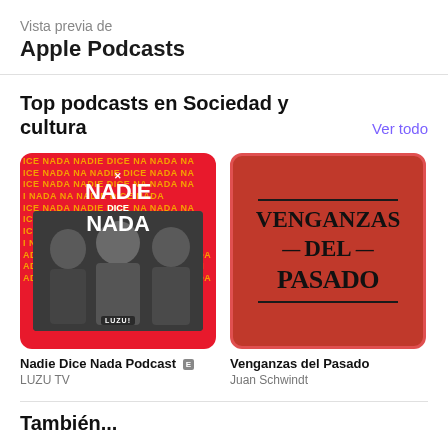Vista previa de
Apple Podcasts
Top podcasts en Sociedad y cultura
Ver todo
[Figure (illustration): Podcast cover art for Nadie Dice Nada Podcast — red background with repeated text pattern, three people posing, LUZU TV branding]
Nadie Dice Nada Podcast [E]
LUZU TV
[Figure (illustration): Podcast cover art for Venganzas del Pasado — red/terracotta background with black serif text reading VENGANZAS DEL PASADO, horizontal lines above and below]
Venganzas del Pasado
Juan Schwindt
[Figure (illustration): Partial podcast cover — purple background with circular element, partially cropped, labeled El M... Co...]
El M...
Co...
También...